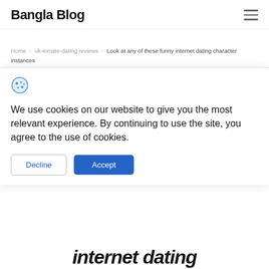Bangla Blog
Home > uk-inmate-dating reviews > Look at any of these funny internet dating character instances
We use cookies on our website to give you the most relevant experience. By continuing to use the site, you agree to the use of cookies.
Decline
Accept
internet dating